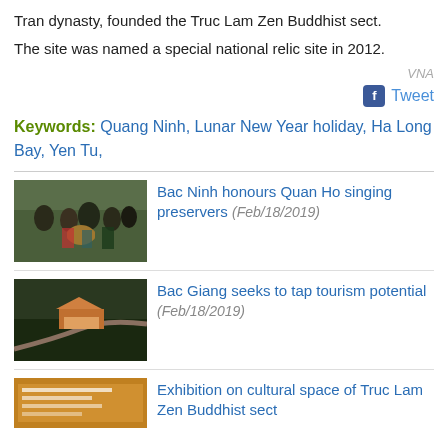Tran dynasty, founded the Truc Lam Zen Buddhist sect.
The site was named a special national relic site in 2012.
VNA
Tweet
Keywords:  Quang Ninh, Lunar New Year holiday, Ha Long Bay, Yen Tu,
[Figure (photo): Group of people in traditional Vietnamese costumes performing Quan Ho singing]
Bac Ninh honours Quan Ho singing preservers (Feb/18/2019)
[Figure (photo): Aerial view of a temple complex in forested hills]
Bac Giang seeks to tap tourism potential (Feb/18/2019)
[Figure (photo): Exhibition banner for Truc Lam Zen Buddhist cultural space]
Exhibition on cultural space of Truc Lam Zen Buddhist sect